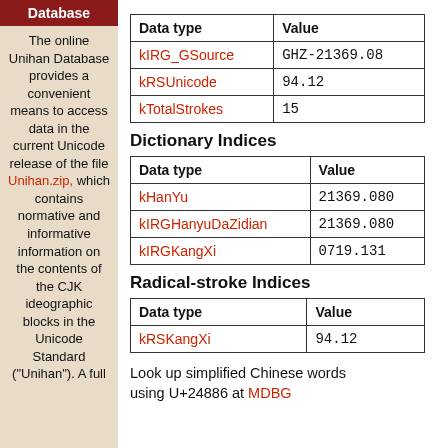Database
The online Unihan Database provides a convenient means to access data in the current Unicode release of the file Unihan.zip, which contains normative and informative information on the contents of the CJK ideographic blocks in the Unicode Standard ("Unihan"). A full
| Data type | Value |
| --- | --- |
| kIRG_GSource | GHZ-21369.08 |
| kRSUnicode | 94.12 |
| kTotalStrokes | 15 |
Dictionary Indices
| Data type | Value |
| --- | --- |
| kHanYu | 21369.080 |
| kIRGHanyuDaZidian | 21369.080 |
| kIRGKangXi | 0719.131 |
Radical-stroke Indices
| Data type | Value |
| --- | --- |
| kRSKangXi | 94.12 |
Look up simplified Chinese words using U+24886 at MDBG